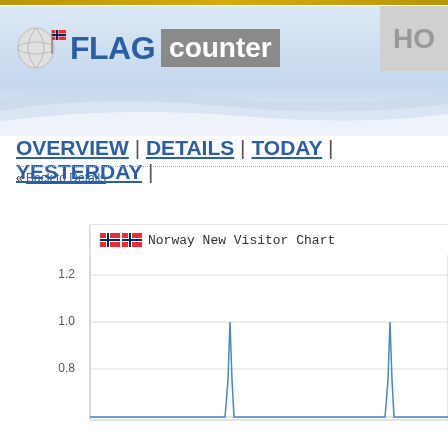[Figure (logo): Flag Counter logo with globe and flag icon, blue FLAG text and grey counter box]
HO
OVERVIEW | DETAILS | TODAY | YESTERDAY |
« Back to Details
[Figure (line-chart): Line chart showing Norway new visitor data with y-axis values at 0.8, 1.0, 1.2 and two visible spikes reaching 1.0]